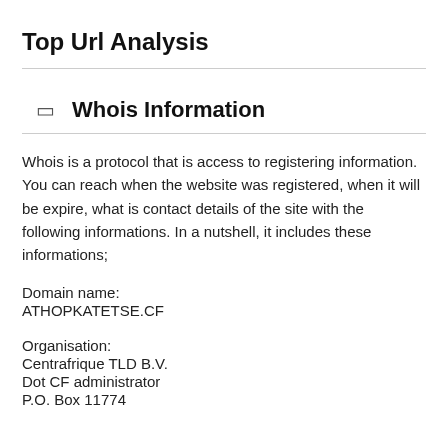Top Url Analysis
Whois Information
Whois is a protocol that is access to registering information. You can reach when the website was registered, when it will be expire, what is contact details of the site with the following informations. In a nutshell, it includes these informations;
Domain name:
ATHOPKATETSE.CF
Organisation:
Centrafrique TLD B.V.
Dot CF administrator
P.O. Box 11774